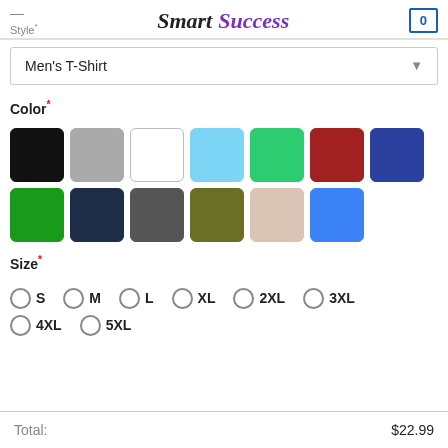Style* | Smart Success | 0
Men's T-Shirt
Color*
[Figure (other): Color swatches: black, gray, white, light blue, bright green, red, navy blue, dark green, dark navy, dark gray, olive, tan/beige, blue]
Size*
S
M
L
XL
2XL
3XL
4XL
5XL
Total: $22.99